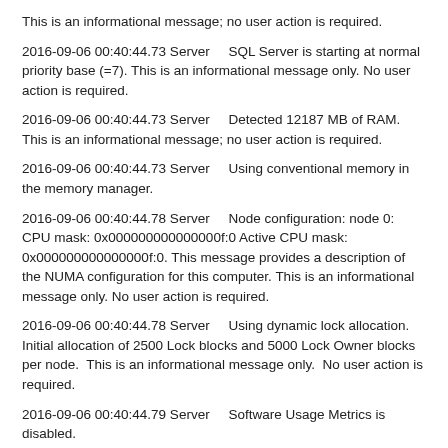This is an informational message; no user action is required.
2016-09-06 00:40:44.73 Server    SQL Server is starting at normal priority base (=7). This is an informational message only. No user action is required.
2016-09-06 00:40:44.73 Server    Detected 12187 MB of RAM. This is an informational message; no user action is required.
2016-09-06 00:40:44.73 Server    Using conventional memory in the memory manager.
2016-09-06 00:40:44.78 Server    Node configuration: node 0: CPU mask: 0x000000000000000f:0 Active CPU mask: 0x000000000000000f:0. This message provides a description of the NUMA configuration for this computer. This is an informational message only. No user action is required.
2016-09-06 00:40:44.78 Server    Using dynamic lock allocation. Initial allocation of 2500 Lock blocks and 5000 Lock Owner blocks per node.  This is an informational message only.  No user action is required.
2016-09-06 00:40:44.79 Server    Software Usage Metrics is disabled.